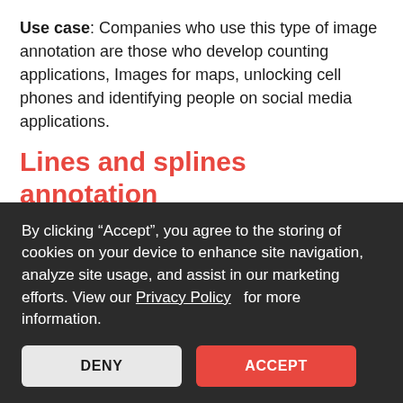Use case: Companies who use this type of image annotation are those who develop counting applications, Images for maps, unlocking cell phones and identifying people on social media applications.
Lines and splines annotation
This is a type of image annotation that is used to train warehouse robots to be able to place boxes or items accurately in a row.
By clicking “Accept”, you agree to the storing of cookies on your device to enhance site navigation, analyze site usage, and assist in our marketing efforts. View our Privacy Policy for more information.